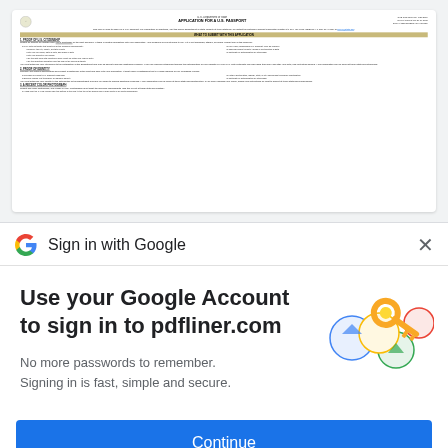[Figure (screenshot): US Passport Application form DS-11 preview showing header with US Department of State seal, title APPLICATION FOR A U.S. PASSPORT, OMB and expiration info, intro text, WHAT TO SUBMIT WITH THIS APPLICATION banner, sections on Proof of U.S. Citizenship, Proof of Identity, and A Recent Color Photograph]
Sign in with Google
Use your Google Account to sign in to pdfliner.com
No more passwords to remember. Signing in is fast, simple and secure.
[Figure (illustration): Google key illustration with colorful circles and a gold key icon]
Continue